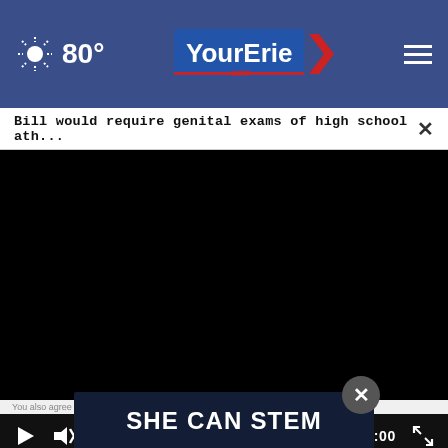80° YourErie.com
Bill would require genital exams of high school ath... ×
[Figure (screenshot): Black video player area with progress bar and playback controls showing 00:00 timestamp]
You also agree to the PrivacyPolicy and Terms of Service
[Figure (screenshot): Advertisement banner reading SHE CAN STEM on dark navy background with close button]
Events Calendar